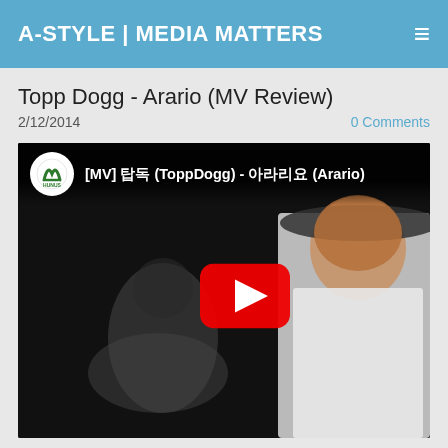A-STYLE | MEDIA MATTERS
Topp Dogg - Arario (MV Review)
2/12/2014
0 Comments
[Figure (screenshot): YouTube embedded video player showing [MV] 탑독 (ToppDogg) - 아라리요 (Arario) music video thumbnail with a young man in white traditional Korean clothing and a wide-brimmed hat, with a female dancer in the background. YouTube play button visible in center.]